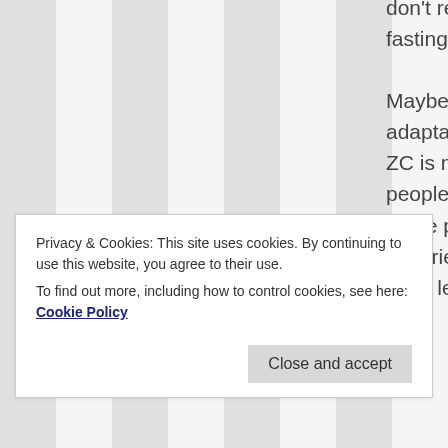don't really have an interest in fasting now either.)

Maybe fasting during adaptation or anytime during ZC is more appropriate for people who have done fasting in the past with good experiences/results and who have learned how their
Privacy & Cookies: This site uses cookies. By continuing to use this website, you agree to their use.
To find out more, including how to control cookies, see here: Cookie Policy

Close and accept